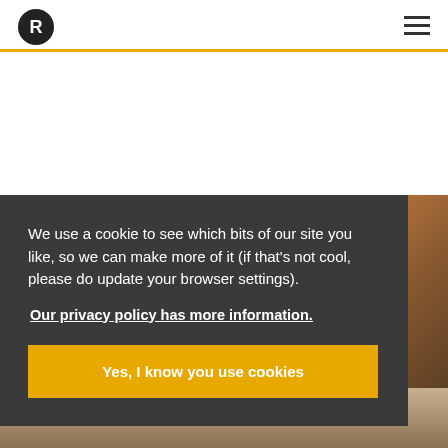R [logo] [hamburger menu]
We use a cookie to see which bits of our site you like, so we can make more of it (if that's not cool, please do update your browser settings).
Our privacy policy has more information.
Yes, I know you use cookies